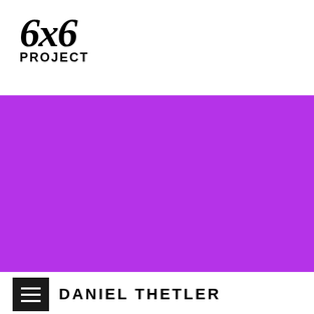6x6 PROJECT
[Figure (illustration): Solid bright purple/violet rectangular color block filling the middle section of the page]
DANIEL THETLER